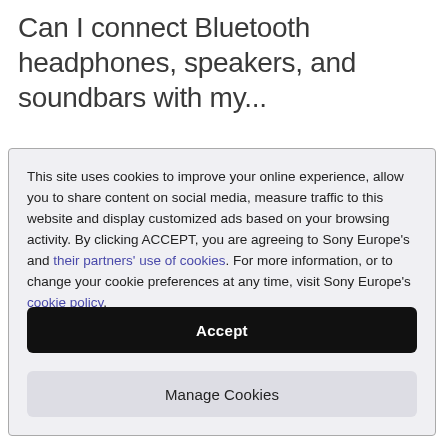Can I connect Bluetooth headphones, speakers, and soundbars with my...
This site uses cookies to improve your online experience, allow you to share content on social media, measure traffic to this website and display customized ads based on your browsing activity. By clicking ACCEPT, you are agreeing to Sony Europe's and their partners' use of cookies. For more information, or to change your cookie preferences at any time, visit Sony Europe's cookie policy.
Accept
Manage Cookies